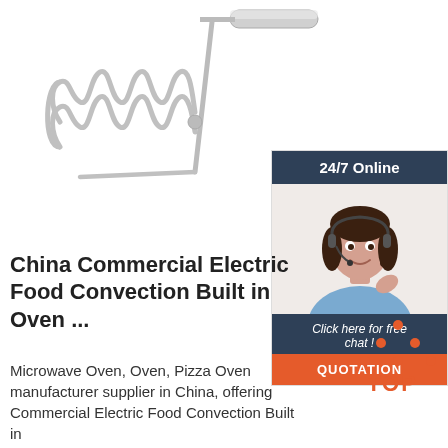[Figure (photo): Stainless steel potato masher with coiled wire head and cylindrical handle against white background]
[Figure (infographic): 24/7 Online chat widget with a smiling female customer service representative wearing a headset, with 'Click here for free chat!' text and orange QUOTATION button]
China Commercial Electric Food Convection Built in Oven ...
Microwave Oven, Oven, Pizza Oven manufacturer supplier in China, offering Commercial Electric Food Convection Built in
[Figure (logo): TOP badge with orange dots forming triangle shape above orange TOP text]